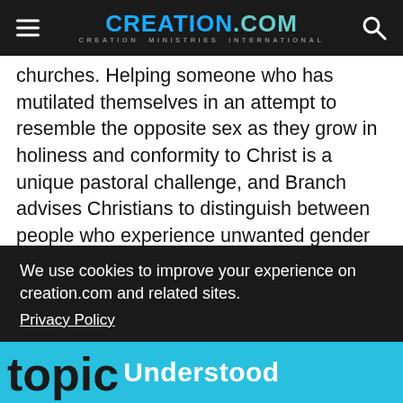CREATION.com — CREATION MINISTRIES INTERNATIONAL
churches. Helping someone who has mutilated themselves in an attempt to resemble the opposite sex as they grow in holiness and conformity to Christ is a unique pastoral challenge, and Branch advises Christians to distinguish between people who experience unwanted gender dysphoria and people who embrace a transgender identity, often along with a particular anti-Christian worldview. He also encourages [best way] [" (p.
We use cookies to improve your experience on creation.com and related sites.
Privacy Policy
Understood
ging topic